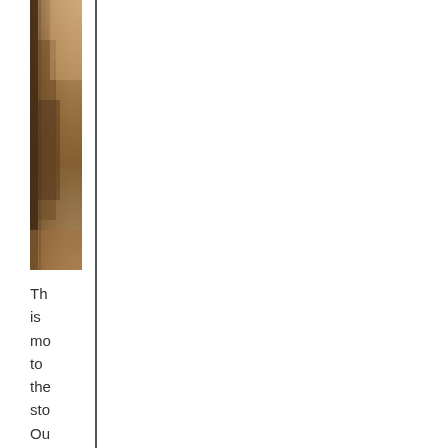[Figure (photo): A narrow vertical strip of a photo showing a scene with warm earthy tones — browns, oranges, and muted natural colors, appearing to be an outdoor or landscape photograph cropped to a thin vertical strip.]
Th
is
mo
to
the
sto
Ou
big
gu